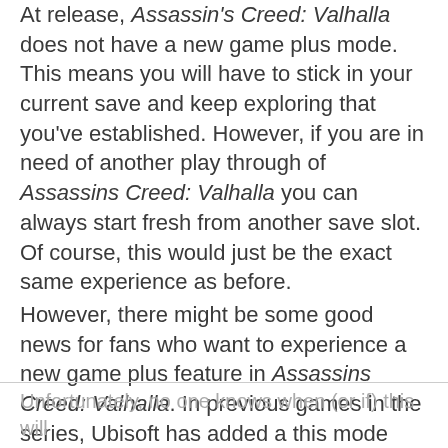At release, Assassin's Creed: Valhalla does not have a new game plus mode. This means you will have to stick in your current save and keep exploring that you've established. However, if you are in need of another play through of Assassins Creed: Valhalla you can always start fresh from another save slot. Of course, this would just be the exact same experience as before.
However, there might be some good news for fans who want to experience a new game plus feature in Assassins Creed: Valhalla. In previous games in the series, Ubisoft has added a this mode post-launch, giving players a new experience of the story.
Unfortunately, no one knows when (or if) this will